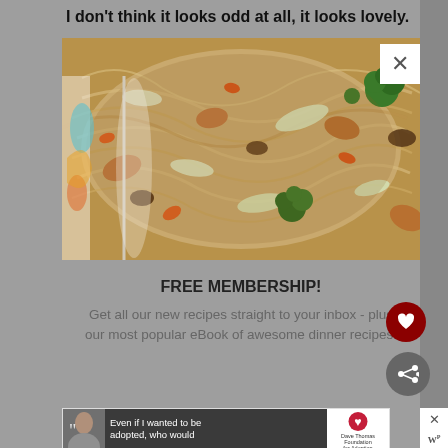I don't think it looks odd at all, it looks lovely.
[Figure (photo): Close-up overhead photo of a stir-fry dish in a pan with noodles, chicken, broccoli, carrots, mushrooms, and cabbage in a savory sauce]
FREE MEMBERSHIP!
Get all our new recipes straight to your inbox - plus our most popular eBook of awesome dinner recipes!
[Figure (photo): Advertisement banner with a woman's photo on the left and text 'Even if I wanted to be adopted, who would' with a Dave Thomas Foundation for Adoption logo]